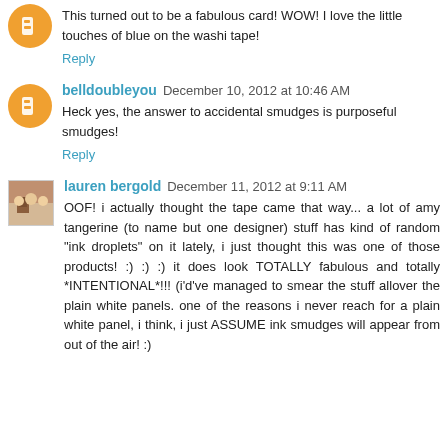This turned out to be a fabulous card! WOW! I love the little touches of blue on the washi tape!
Reply
belldoubleyou  December 10, 2012 at 10:46 AM
Heck yes, the answer to accidental smudges is purposeful smudges!
Reply
lauren bergold  December 11, 2012 at 9:11 AM
OOF! i actually thought the tape came that way... a lot of amy tangerine (to name but one designer) stuff has kind of random "ink droplets" on it lately, i just thought this was one of those products! :) :) :) it does look TOTALLY fabulous and totally *INTENTIONAL*!!! (i'd've managed to smear the stuff allover the plain white panels. one of the reasons i never reach for a plain white panel, i think, i just ASSUME ink smudges will appear from out of the air! :)